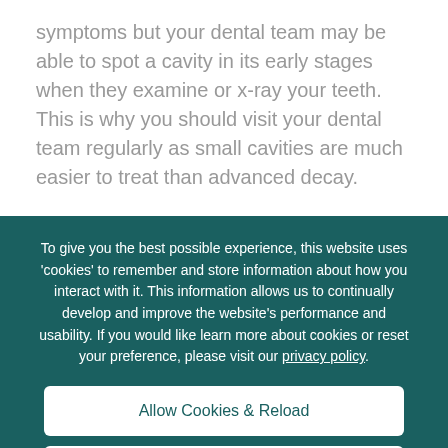symptoms but your dental team may be able to spot a cavity in its early stages when they examine or x-ray your teeth. This is why you should visit your dental team regularly as small cavities are much easier to treat than advanced decay.
To give you the best possible experience, this website uses 'cookies' to remember and store information about how you interact with it. This information allows us to continually develop and improve the website's performance and usability. If you would like learn more about cookies or reset your preference, please visit our privacy policy.
Allow Cookies & Reload
Reject Cookies & Reload